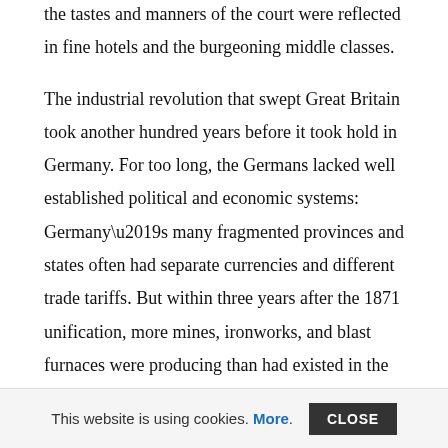the tastes and manners of the court were reflected in fine hotels and the burgeoning middle classes.
The industrial revolution that swept Great Britain took another hundred years before it took hold in Germany. For too long, the Germans lacked well established political and economic systems: Germany’s many fragmented provinces and states often had separate currencies and different trade tariffs. But within three years after the 1871 unification, more mines, ironworks, and blast furnaces were producing than had existed in the past seventy years.
The expansion and power of the great Krupp works paralleled the growth of Prussian power. Educational systems were keyed to industrial education and research, and this trend, together with the vast riches of natural resources and the growth of fast communication systems, spurred German genius. Welding
This website is using cookies. More. CLOSE